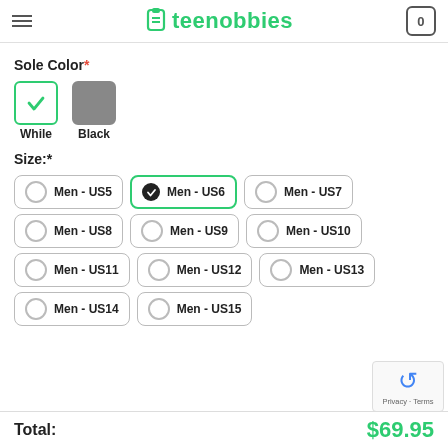teenobbies — cart icon showing 0
Sole Color *
While  Black
Size: *
Men - US5
Men - US6 (selected)
Men - US7
Men - US8
Men - US9
Men - US10
Men - US11
Men - US12
Men - US13
Men - US14
Men - US15
Total: $69.95